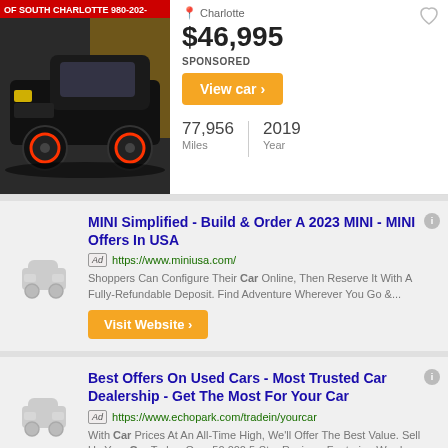[Figure (photo): Black pickup truck with custom wheels parked in front of a dealership. Red banner text reads 'OF SOUTH CHARLOTTE 980-202-']
Charlotte
$46,995
SPONSORED
View car ›
77,956 Miles | 2019 Year
MINI Simplified - Build & Order A 2023 MINI - MINI Offers In USA
Ad https://www.miniusa.com/
Shoppers Can Configure Their Car Online, Then Reserve It With A Fully-Refundable Deposit. Find Adventure Wherever You Go &...
Visit Website ›
Best Offers On Used Cars - Most Trusted Car Dealership - Get The Most For Your Car
Ad https://www.echopark.com/tradein/yourcar
With Car Prices At An All-Time High, We'll Offer The Best Value. Sell Us Your Car Today. Over 50,000 5-Star Reviews Featuring Word...